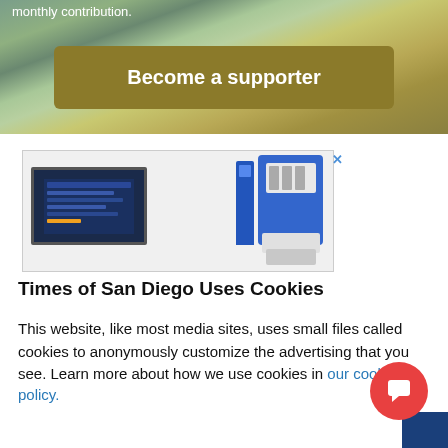monthly contribution.
[Figure (other): Become a supporter button over coastal landscape background]
[Figure (screenshot): Advertisement showing laboratory instrument equipment with a blue analytical device and computer monitor displaying data]
Times of San Diego Uses Cookies
This website, like most media sites, uses small files called cookies to anonymously customize the advertising that you see. Learn more about how we use cookies in our cookie policy.